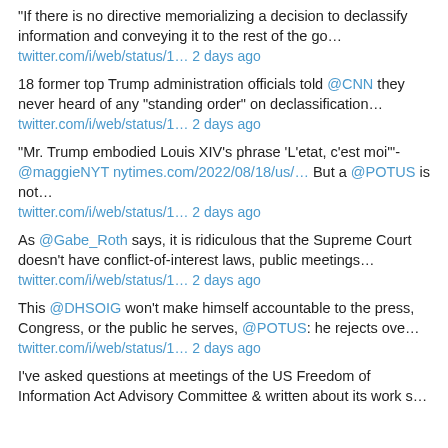“If there is no directive memorializing a decision to declassify information and conveying it to the rest of the go…
twitter.com/i/web/status/1… 2 days ago
18 former top Trump administration officials told @CNN they never heard of any “standing order” on declassification…
twitter.com/i/web/status/1… 2 days ago
“Mr. Trump embodied Louis XIV’s phrase ‘L’etat, c’est moi’”- @maggieNYT nytimes.com/2022/08/18/us/… But a @POTUS is not…
twitter.com/i/web/status/1… 2 days ago
As @Gabe_Roth says, it is ridiculous that the Supreme Court doesn’t have conflict-of-interest laws, public meetings…
twitter.com/i/web/status/1… 2 days ago
This @DHSOIG won’t make himself accountable to the press, Congress, or the public he serves, @POTUS: he rejects ove…
twitter.com/i/web/status/1… 2 days ago
I’ve asked questions at meetings of the US Freedom of Information Act Advisory Committee & written about its work s…